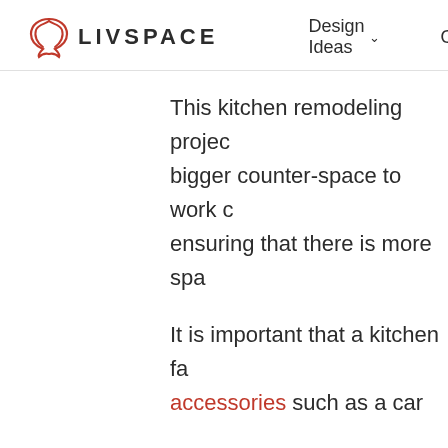LIVSPACE  Design Ideas ∨  Offerings
This kitchen remodeling projec… bigger counter-space to work c… ensuring that there is more spa…
It is important that a kitchen fa… accessories such as a car… happiest with the carouse…
[Figure (logo): WhatsApp floating button icon, green rounded square with white WhatsApp logo]